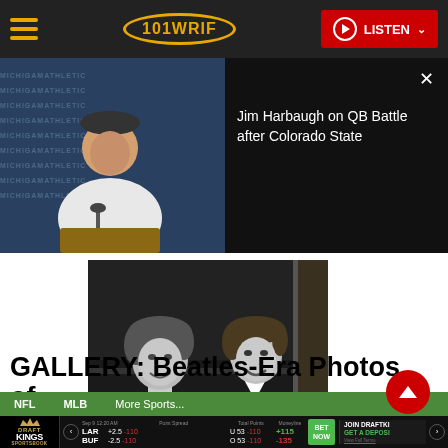101 WRIF — LISTEN
[Figure (photo): Jim Harbaugh at a press conference podium in front of Michigan Athletics backdrop]
Jim Harbaugh on QB Battle after Colorado State
[Figure (photo): Black and white photo of two Beatles members (John Lennon and Paul McCartney) smiling in a car]
GALLERY: Beatles-Era Photos of
NFL   MLB   More Sports...
Sep 9 12:20 AM   Point Spread   Total Points   Moneyline   LAR +2.5 -110   U 53 -110   +115   BET NOW   BUF -2.5 -110   O 53 -110   -135   JOIN DRAFTKINGS   GET A DEPOSIT   View Full Terms